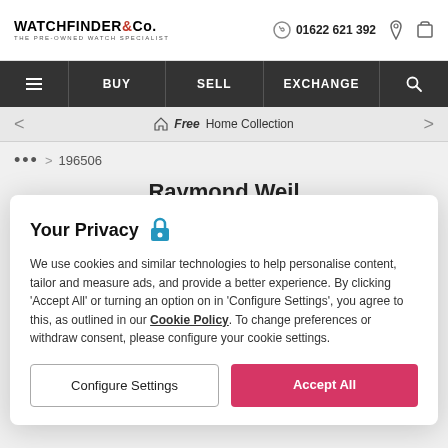WATCHFINDER & Co. THE PRE-OWNED WATCH SPECIALIST | 01622 621 392
[Figure (screenshot): Navigation bar with hamburger menu, BUY, SELL, EXCHANGE, and search icon on dark background]
[Figure (screenshot): Banner with left arrow, home icon, 'Free Home Collection' text, right arrow]
... > 196506
Raymond Weil
Your Privacy
We use cookies and similar technologies to help personalise content, tailor and measure ads, and provide a better experience. By clicking 'Accept All' or turning an option on in 'Configure Settings', you agree to this, as outlined in our Cookie Policy. To change preferences or withdraw consent, please configure your cookie settings.
Configure Settings | Accept All